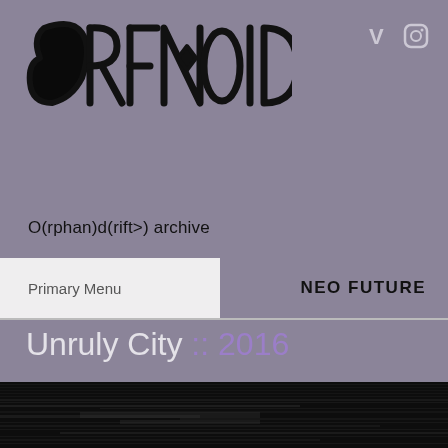[Figure (logo): Graffiti-style handwritten logo text for Orphandrift, black brush lettering on grey-purple background]
[Figure (illustration): Social media icons: Vimeo V and Instagram camera, light grey/white, top right corner]
O(rphan)d(rift>) archive
Primary Menu
NEO FUTURE
Unruly City :: 2016
[Figure (photo): Dark black background with glitch/scan-line texture, horizontal banding effect suggesting corrupted video or film]